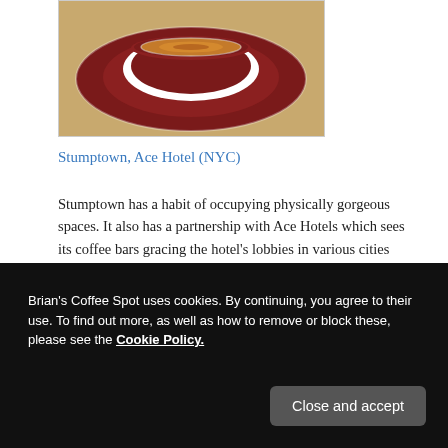[Figure (photo): Top-down view of an espresso in a dark red/maroon cup and saucer on a wooden table]
Stumptown, Ace Hotel (NYC)
Stumptown has a habit of occupying physically gorgeous spaces. It also has a partnership with Ace Hotels which sees its coffee bars gracing the hotel's lobbies in various cities around America. This branch, in the lobby of
Brian's Coffee Spot uses cookies. By continuing, you agree to their use. To find out more, as well as how to remove or block these, please see the Cookie Policy.